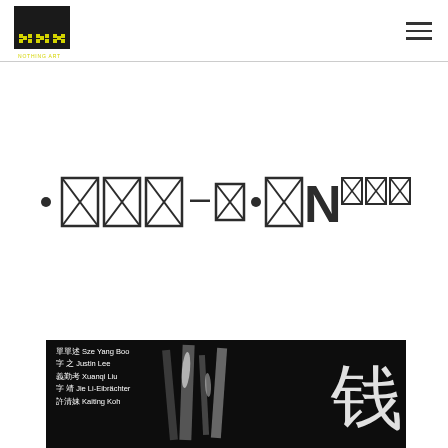[Figure (logo): Notning Art logo: black square with yellow pixel-style text 'N.N.T.' above 'NOTHING ART' in small caps]
• 囧囧囧－囧•囧N囧囧囧
[Figure (photo): Dark photograph showing metallic/reflective objects, possibly instruments or hardware. Overlaid text credits listing: 單單述 Sze Yang Boo, 字 之 Justin Lee, 義勤考 Xuanqi Liu, 字 靖 Jie Li-Eibrächter, 許清妹 Kaiting Koh. A large Chinese character (钱/錢 meaning money) visible on right side in white.]